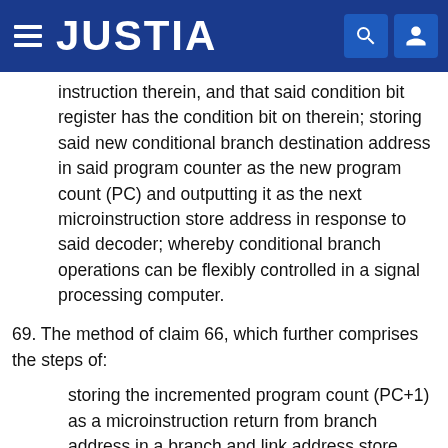JUSTIA
instruction therein, and that said condition bit register has the condition bit on therein; storing said new conditional branch destination address in said program counter as the new program count (PC) and outputting it as the next microinstruction store address in response to said decoder; whereby conditional branch operations can be flexibly controlled in a signal processing computer.
69. The method of claim 66, which further comprises the steps of:
storing the incremented program count (PC+1) as a microinstruction return from branch address in a branch and link address store having an address input, a control input connected to an output from said decoder, a data input connected to said